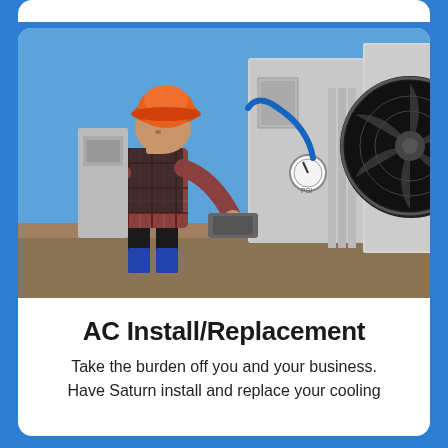[Figure (photo): A technician wearing an orange hard hat and plaid shirt bending over working on a commercial HVAC rooftop unit. A large industrial fan/condenser unit is visible on the right side. Blue sky in the background.]
AC Install/Replacement
Take the burden off you and your business. Have Saturn install and replace your cooling